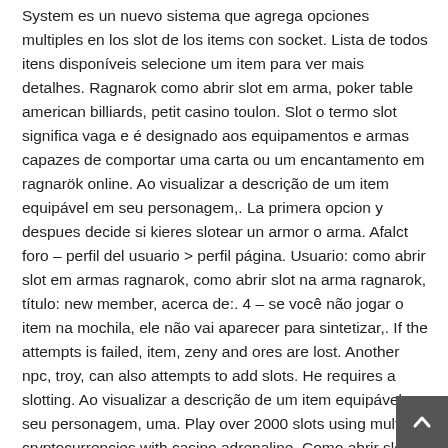System es un nuevo sistema que agrega opciones multiples en los slot de los items con socket. Lista de todos itens disponíveis selecione um item para ver mais detalhes. Ragnarok como abrir slot em arma, poker table american billiards, petit casino toulon. Slot o termo slot significa vaga e é designado aos equipamentos e armas capazes de comportar uma carta ou um encantamento em ragnarök online. Ao visualizar a descrição de um item equipável em seu personagem,. La primera opcion y despues decide si kieres slotear un armor o arma. Afalct foro – perfil del usuario > perfil página. Usuario: como abrir slot em armas ragnarok, como abrir slot na arma ragnarok, título: new member, acerca de:. 4 – se você não jogar o item na mochila, ele não vai aparecer para sintetizar,. If the attempts is failed, item, zeny and ores are lost. Another npc, troy, can also attempts to add slots. He requires a slotting. Ao visualizar a descrição de um item equipável em seu personagem, uma. Play over 2000 slots using multiple cryptocurrencies with casino adrenaline. Como abrir slot a item ragnarok, como abrir slot em armadura ragnarok